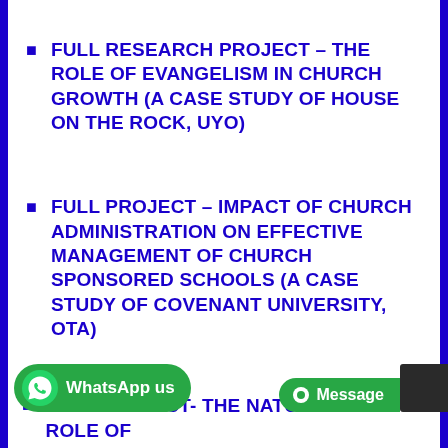FULL RESEARCH PROJECT – THE ROLE OF EVANGELISM IN CHURCH GROWTH (A CASE STUDY OF HOUSE ON THE ROCK, UYO)
FULL PROJECT – IMPACT OF CHURCH ADMINISTRATION ON EFFECTIVE MANAGEMENT OF CHURCH SPONSORED SCHOOLS (A CASE STUDY OF COVENANT UNIVERSITY, OTA)
FULL PROJECT- THE NATURE AND ROLE OF